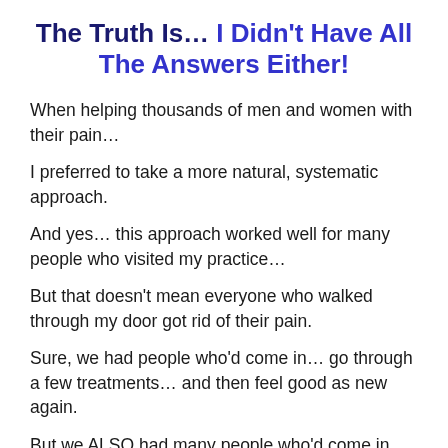The Truth Is… I Didn't Have All The Answers Either!
When helping thousands of men and women with their pain…
I preferred to take a more natural, systematic approach.
And yes… this approach worked well for many people who visited my practice…
But that doesn't mean everyone who walked through my door got rid of their pain.
Sure, we had people who'd come in… go through a few treatments… and then feel good as new again.
But we ALSO had many people who'd come in